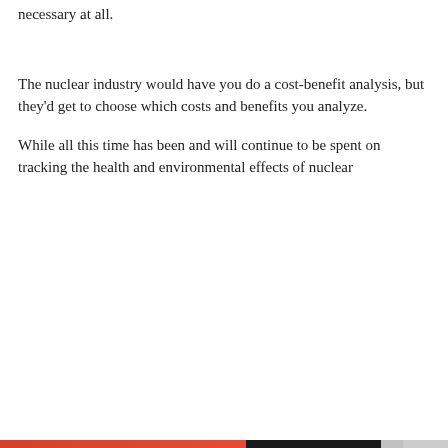necessary at all.
The nuclear industry would have you do a cost-benefit analysis, but they'd get to choose which costs and benefits you analyze.
While all this time has been and will continue to be spent on tracking the health and environmental effects of nuclear
Privacy & Cookies: This site uses cookies. By continuing to use this website, you agree to their use.
To find out more, including how to control cookies, see here: Cookie Policy
Close and accept